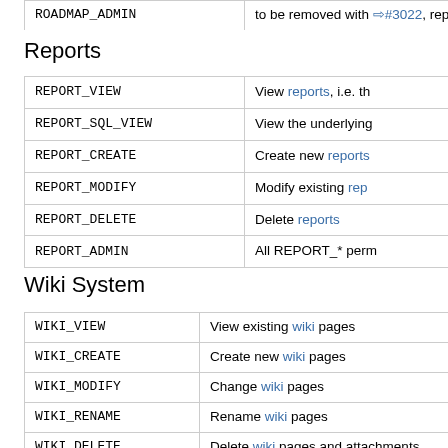| ROADMAP_ADMIN | to be removed with ⇨#3022, replaced |
Reports
| REPORT_VIEW | View reports, i.e. th |
| REPORT_SQL_VIEW | View the underlying |
| REPORT_CREATE | Create new reports |
| REPORT_MODIFY | Modify existing rep |
| REPORT_DELETE | Delete reports |
| REPORT_ADMIN | All REPORT_* perm |
Wiki System
| WIKI_VIEW | View existing wiki pages |
| WIKI_CREATE | Create new wiki pages |
| WIKI_MODIFY | Change wiki pages |
| WIKI_RENAME | Rename wiki pages |
| WIKI_DELETE | Delete wiki pages and attachments |
| WIKI_ADMIN | All WIKI_* permissions, plus the manage |